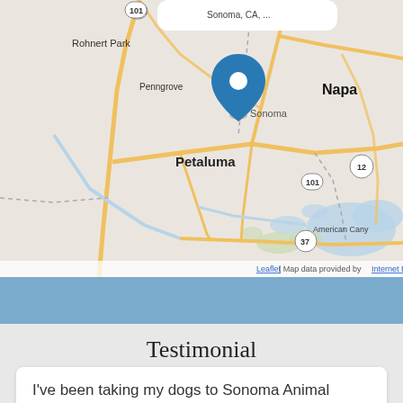[Figure (map): Interactive map showing Sonoma, CA area with a blue location pin over Sonoma. Shows surrounding cities including Rohnert Park, Penngrove, Petaluma, Napa, and American Canyon. Roads including US-101, Highway 12, and Highway 37 are visible. Map attribution: Leaflet | Map data provided by Internet Brands.]
Testimonial
I've been taking my dogs to Sonoma Animal Hospital for more they've